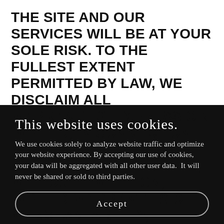THE SITE AND OUR SERVICES WILL BE AT YOUR SOLE RISK. TO THE FULLEST EXTENT PERMITTED BY LAW, WE DISCLAIM ALL WARRANTIES, EXPRESS OR IMPLIED, IN CONNECTION WITH THE SITE AND YOUR USE THEREOF, INCLUDING, WITHOUT LIMITATION, THE IMPLIED WARRANTIES OF MERCHANTABILITY, FITNESS FOR A PARTICULAR PURPOSE, AND NON-
This website uses cookies.
We use cookies solely to analyze website traffic and optimize your website experience. By accepting our use of cookies, your data will be aggregated with all other user data.  It will never be shared or sold to third parties.
Accept